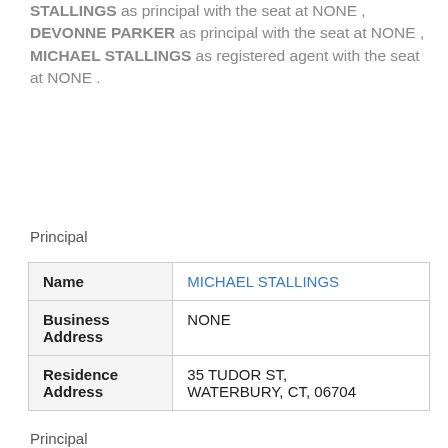STALLINGS as principal with the seat at NONE , DEVONNE PARKER as principal with the seat at NONE , MICHAEL STALLINGS as registered agent with the seat at NONE .
Principal
| Name | MICHAEL STALLINGS |
| Business Address | NONE |
| Residence Address | 35 TUDOR ST, WATERBURY, CT, 06704 |
Principal